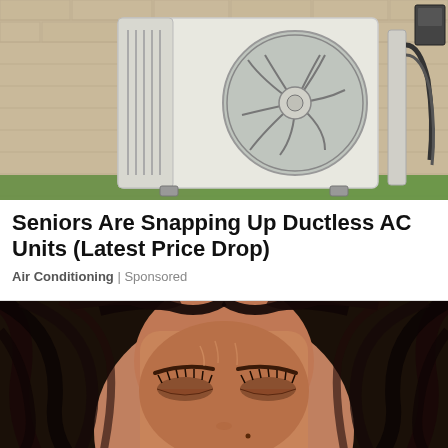[Figure (photo): Outdoor ductless mini-split AC unit mounted on a brick wall with conduit/cables visible, green grass at bottom right]
Seniors Are Snapping Up Ductless AC Units (Latest Price Drop)
Air Conditioning | Sponsored
[Figure (photo): Close-up of a woman's face with eyes closed, wet/sweaty dark hair spread around her head, appearing distressed or hot]